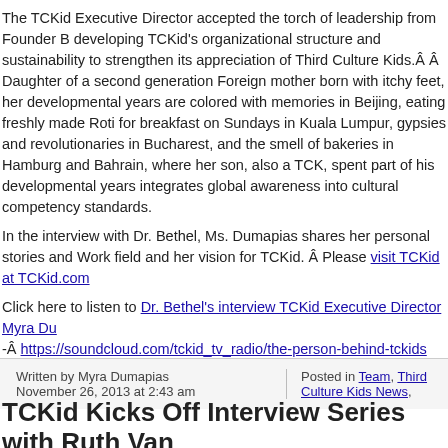The TCKid Executive Director accepted the torch of leadership from Founder B developing TCKid's organizational structure and sustainability to strengthen its appreciation of Third Culture Kids.Â Â Daughter of a second generation Foreign mother born with itchy feet, her developmental years are colored with memories in Beijing, eating freshly made Roti for breakfast on Sundays in Kuala Lumpur, gypsies and revolutionaries in Bucharest, and the smell of bakeries in Hamburg and Bahrain, where her son, also a TCK, spent part of his developmental years integrates global awareness into cultural competency standards.
In the interview with Dr. Bethel, Ms. Dumapias shares her personal stories and Work field and her vision for TCKid. Â Please visit TCKid at TCKid.com
Click here to listen to Dr. Bethel's interview TCKid Executive Director Myra Du -Â https://soundcloud.com/tckid_tv_radio/the-person-behind-tckids
Written by Myra Dumapias
November 26, 2013 at 2:43 am
Posted in Team, Third Culture Kids News,
TCKid Kicks Off Interview Series with Ruth Van
0 Comments